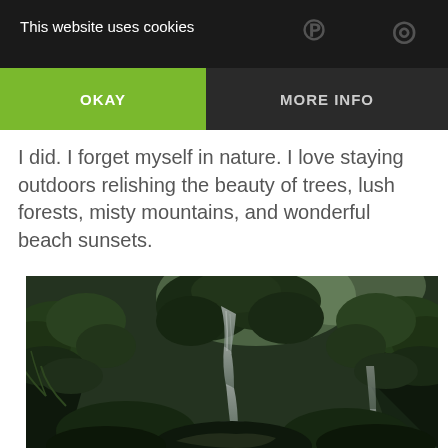This website uses cookies
OKAY
MORE INFO
I did. I forget myself in nature. I love staying outdoors relishing the beauty of trees, lush forests, misty mountains, and wonderful beach sunsets.
[Figure (photo): A lush green forest with a waterfall cascading down rocky cliffs surrounded by tropical vegetation and ferns.]